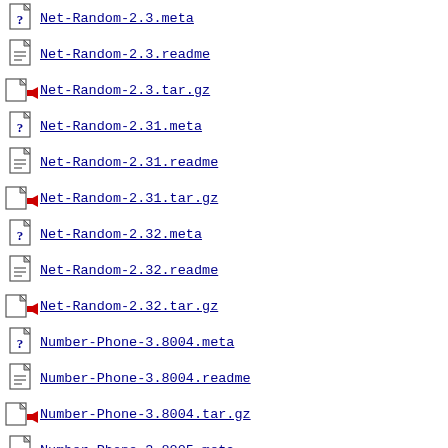Net-Random-2.3.meta
Net-Random-2.3.readme
Net-Random-2.3.tar.gz
Net-Random-2.31.meta
Net-Random-2.31.readme
Net-Random-2.31.tar.gz
Net-Random-2.32.meta
Net-Random-2.32.readme
Net-Random-2.32.tar.gz
Number-Phone-3.8004.meta
Number-Phone-3.8004.readme
Number-Phone-3.8004.tar.gz
Number-Phone-3.8005.meta
Number-Phone-3.8005.readme
Number-Phone-3.8005.tar.gz
Number-Phone-UK-DetailedLocations-1.5.meta
Number-Phone-UK-DetailedLocations-1.5.readme